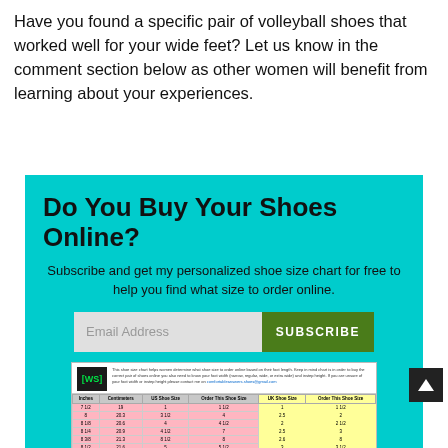Have you found a specific pair of volleyball shoes that worked well for your wide feet? Let us know in the comment section below as other women will benefit from learning about your experiences.
Do You Buy Your Shoes Online?
Subscribe and get my personalized shoe size chart for free to help you find what size to order online.
[Figure (infographic): Email subscription form with 'Email Address' input field and green 'SUBSCRIBE' button, with a shoe size chart image below.]